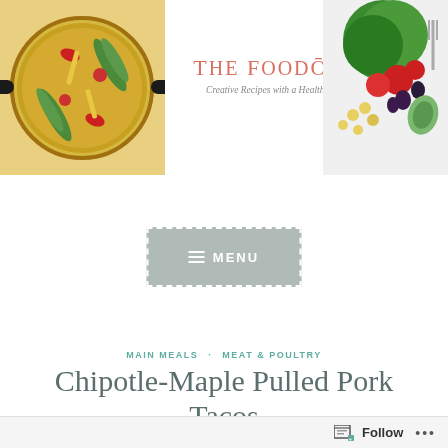[Figure (photo): Header banner of The Foodolic blog with two food photos on left and right, and blog title in center]
THE FOODŌLIC
Creative Recipes with a Healthy Touch
[Figure (screenshot): Menu button with hamburger icon and text MENU on gray background with dashed border]
MAIN MEALS · MEAT & POULTRY
Chipotle-Maple Pulled Pork Tacos
Follow ...